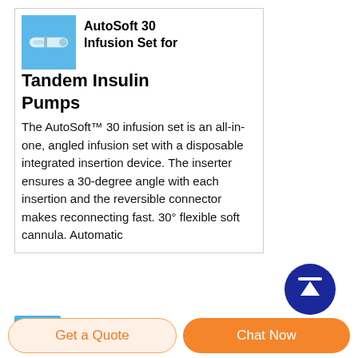[Figure (photo): Small product image of AutoSoft 30 infusion set on a blue background]
AutoSoft 30 Infusion Set for Tandem Insulin Pumps
The AutoSoft™ 30 infusion set is an all-in-one, angled infusion set with a disposable integrated insertion device. The inserter ensures a 30-degree angle with each insertion and the reversible connector makes reconnecting fast. 30° flexible soft cannula. Automatic
[Figure (infographic): Dark blue circular scroll-to-top button with upward arrow icon]
Get a Quote
Chat Now